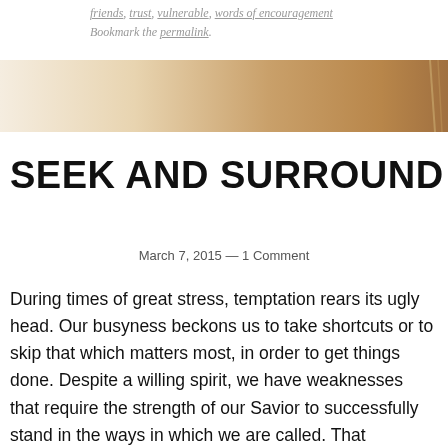friends, trust, vulnerable, words of encouragement
Bookmark the permalink.
[Figure (photo): Warm sepia-toned banner image, fading from light beige on the left to a warm golden-brown on the right, with a faint vertical element on the far right.]
SEEK AND SURROUND
March 7, 2015 — 1 Comment
During times of great stress, temptation rears its ugly head. Our busyness beckons us to take shortcuts or to skip that which matters most, in order to get things done. Despite a willing spirit, we have weaknesses that require the strength of our Savior to successfully stand in the ways in which we are called. That